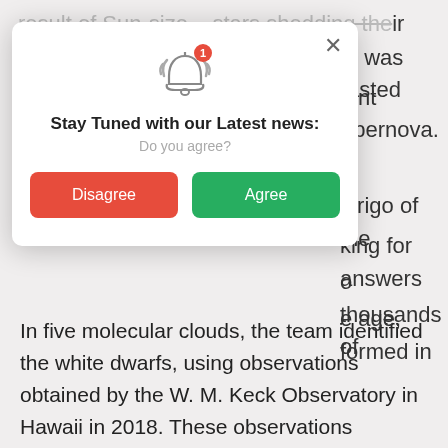result of Sun-size – stars shedding their skins as they [expand] if it was blasted [and] went supernova.
[Figure (screenshot): Modal dialog overlay with bell notification icon with red badge showing '1', title 'Stay Tuned with our Latest news:', subtitle 'Do you agree?', a red 'Disagree' button and a green 'Agree' button, with an X close button in the top right.]
larigo of the [questions] king for answers [to] thousands of [the] age, formed in
In five molecular clouds, the team identified the white dwarfs, using observations obtained by the W. M. Keck Observatory in Hawaii in 2018. These observations delivered the star spectra – ‘fingerprints’ of light that can be decoded to reveal information about the star, such as temperature (and therefore age), chemical composition, and surface gravity (and therefore mass).